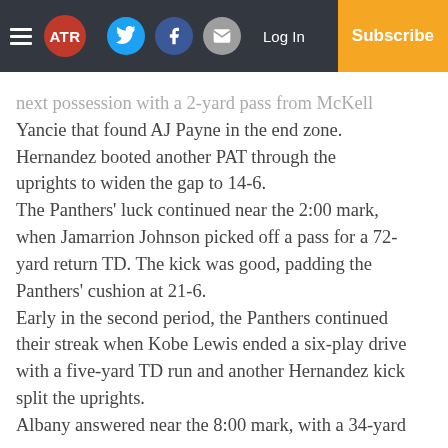ATR | Log In | Subscribe
next possession with a 2-yard pass from McKell Yancie that found AJ Payne in the end zone. Hernandez booted another PAT through the uprights to widen the gap to 14-6. The Panthers' luck continued near the 2:00 mark, when Jamarrion Johnson picked off a pass for a 72-yard return TD. The kick was good, padding the Panthers' cushion at 21-6. Early in the second period, the Panthers continued their streak when Kobe Lewis ended a six-play drive with a five-yard TD run and another Hernandez kick split the uprights. Albany answered near the 8:00 mark, with a 34-yard